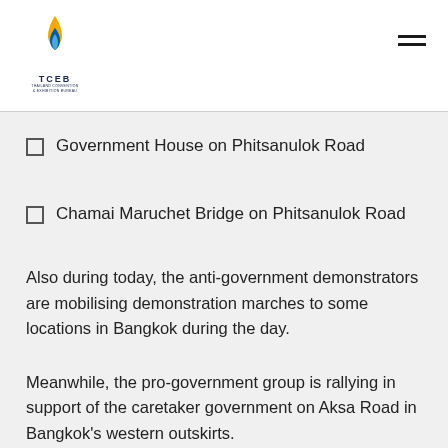TCEB Thailand Convention & Exhibition Bureau
Government House on Phitsanulok Road
Chamai Maruchet Bridge on Phitsanulok Road
Also during today, the anti-government demonstrators are mobilising demonstration marches to some locations in Bangkok during the day.
Meanwhile, the pro-government group is rallying in support of the caretaker government on Aksa Road in Bangkok's western outskirts.